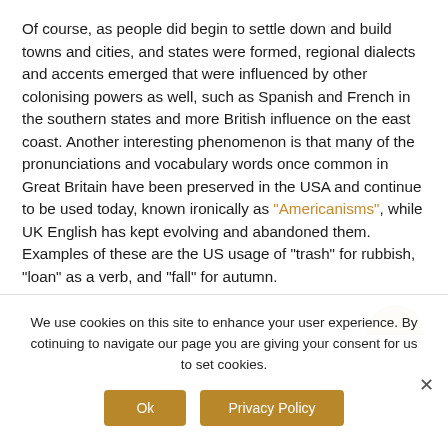Of course, as people did begin to settle down and build towns and cities, and states were formed, regional dialects and accents emerged that were influenced by other colonising powers as well, such as Spanish and French in the southern states and more British influence on the east coast. Another interesting phenomenon is that many of the pronunciations and vocabulary words once common in Great Britain have been preserved in the USA and continue to be used today, known ironically as “Americanisms”, while UK English has kept evolving and abandoned them. Examples of these are the US usage of “trash” for rubbish, “loan” as a verb, and “fall” for autumn.
We use cookies on this site to enhance your user experience. By cotinuing to navigate our page you are giving your consent for us to set cookies.